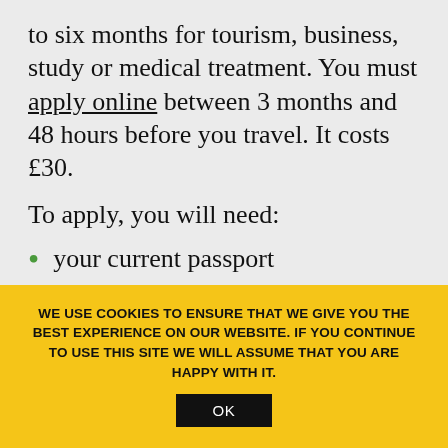to six months for tourism, business, study or medical treatment. You must apply online between 3 months and 48 hours before you travel. It costs £30.
To apply, you will need:
your current passport
an address in the UK where you will be staying
details of your journey, including
WE USE COOKIES TO ENSURE THAT WE GIVE YOU THE BEST EXPERIENCE ON OUR WEBSITE. IF YOU CONTINUE TO USE THIS SITE WE WILL ASSUME THAT YOU ARE HAPPY WITH IT.